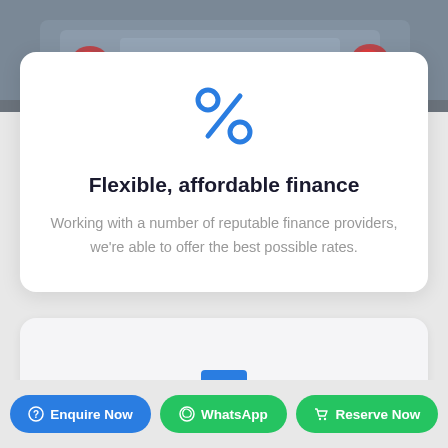[Figure (photo): Rear view of a silver/grey SUV vehicle against dark background, partially visible at top of page]
[Figure (illustration): Blue percentage symbol icon centered above the card title]
Flexible, affordable finance
Working with a number of reputable finance providers, we're able to offer the best possible rates.
[Figure (illustration): Partial blue rectangle visible at bottom of second card, partially cropped]
Enquire Now
WhatsApp
Reserve Now